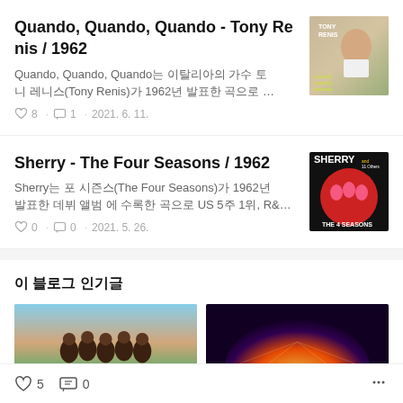Quando, Quando, Quando - Tony Renis / 1962
Quando, Quando, Quando는 이탈리아의 가수 토니 레니스(Tony Renis)가 1962년 발표한 곡으로 …
♡ 8  · 💬 1  · 2021. 6. 11.
[Figure (photo): Album cover for Quando, Quando, Quando by Tony Renis - shows a young man in white shirt with album title text]
Sherry - The Four Seasons / 1962
Sherry는 포 시즌스(The Four Seasons)가 1962년 발표한 데뷔 앨범 에 수록한 곡으로 US 5주 1위, R&…
♡ 0  · 💬 0  · 2021. 5. 26.
[Figure (photo): Album cover for Sherry by The Four Seasons - shows four men in pink shirts with SHERRY text and THE 4 SEASONS at bottom]
이 블로그 인기글
[Figure (photo): Popular post thumbnail - band group photo with blue sky background]
[Figure (photo): Popular post thumbnail - abstract light tunnel image]
♡ 5   💬 0